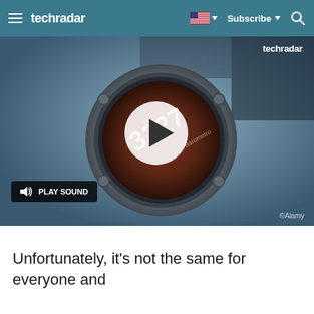techradar | Subscribe | [search icon]
[Figure (screenshot): Video thumbnail showing a close-up of a smartwatch face with barometer reading 3227, with a circular play button overlay and a PLAY SOUND button in the bottom-left. TechRadar watermark top-right, ©Alamy credit bottom-right.]
Unfortunately, it's not the same for everyone and